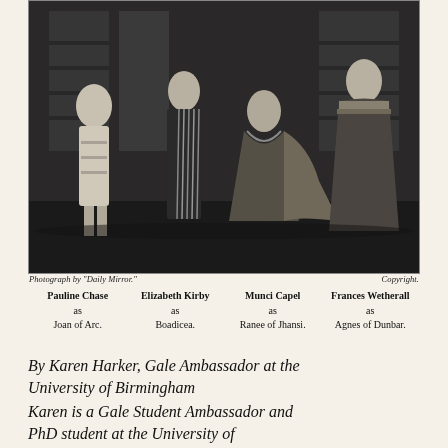[Figure (photo): A black and white photograph showing four women in theatrical costumes on a stage. They appear to be posed in dramatic stances with elaborate period dress. The image is from the Daily Mirror.]
Photograph by "Daily Mirror." Copyright.
Pauline Chase as Joan of Arc. Elizabeth Kirby as Boadicea. Munci Capel as Ranee of Jhansi. Frances Wetherall as Agnes of Dunbar.
By Karen Harker, Gale Ambassador at the University of Birmingham
Karen is a Gale Student Ambassador and PhD student at the University of Birmingham's Shakespeare Institute. Her work focuses on digitally reconstructing and reconsidering the role of incidental music